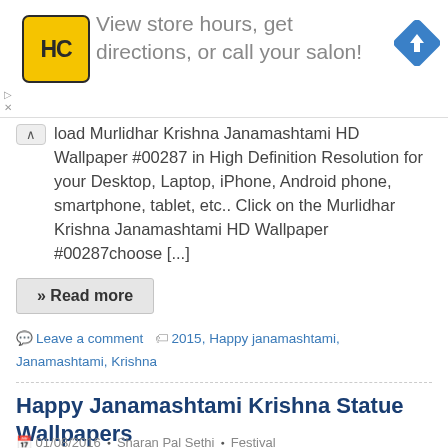[Figure (infographic): Advertisement banner: Haircut Salon logo (HC in yellow box), text 'View store hours, get directions, or call your salon!', blue navigation arrow icon. Small triangle and X controls at left.]
load Murlidhar Krishna Janamashtami HD Wallpaper #00287 in High Definition Resolution for your Desktop, Laptop, iPhone, Android phone, smartphone, tablet, etc.. Click on the Murlidhar Krishna Janamashtami HD Wallpaper #00287choose [...]
» Read more
Leave a comment  2015, Happy janamashtami, Janamashtami, Krishna
Happy Janamashtami Krishna Statue Wallpapers
01/08/2016  •  Sharan Pal Sethi  •  Festival